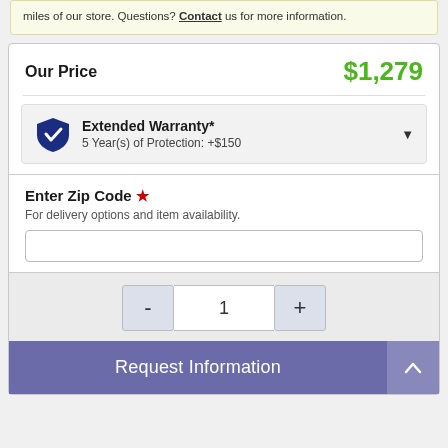miles of our store. Questions? Contact us for more information.
Our Price
$1,279
Extended Warranty* 5 Year(s) of Protection: +$150
Enter Zip Code *
For delivery options and item availability.
1
Request Information